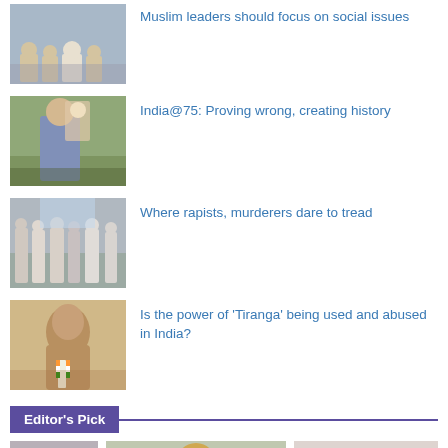[Figure (photo): Muslim leaders seated at a conference table]
Muslim leaders should focus on social issues
[Figure (photo): Indian leader waving with soldiers in background]
India@75: Proving wrong, creating history
[Figure (photo): Group of people standing outdoors]
Where rapists, murderers dare to tread
[Figure (photo): Child holding Indian flags]
Is the power of ‘Tiranga’ being used and abused in India?
Editor's Pick
[Figure (photo): Bottom strip with two images]